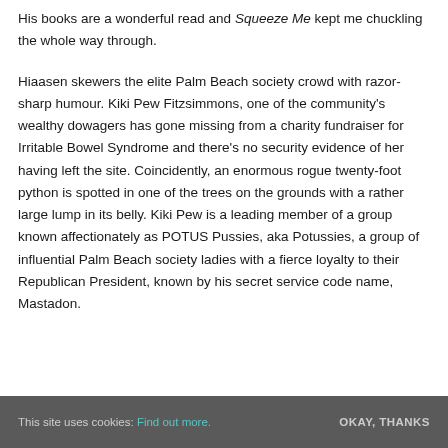His books are a wonderful read and Squeeze Me kept me chuckling the whole way through.
Hiaasen skewers the elite Palm Beach society crowd with razor-sharp humour. Kiki Pew Fitzsimmons, one of the community's wealthy dowagers has gone missing from a charity fundraiser for Irritable Bowel Syndrome and there's no security evidence of her having left the site. Coincidently, an enormous rogue twenty-foot python is spotted in one of the trees on the grounds with a rather large lump in its belly. Kiki Pew is a leading member of a group known affectionately as POTUS Pussies, aka Potussies, a group of influential Palm Beach society ladies with a fierce loyalty to their Republican President, known by his secret service code name, Mastadon.
This site uses cookies: Find out more.   OKAY, THANKS